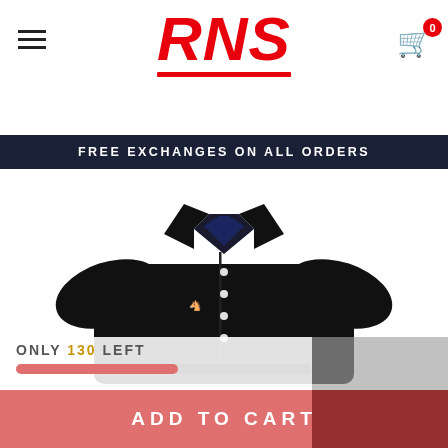RNS
FREE EXCHANGES ON ALL ORDERS
[Figure (photo): Black short-sleeve Polo Ralph Lauren button-down shirt with small gold pony logo on left chest pocket, shown flat on white background]
ONLY 130 LEFT
ADD TO CART